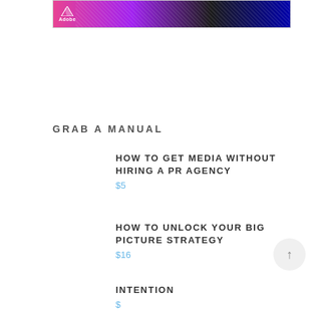[Figure (illustration): Adobe advertisement banner with pink-to-purple gradient on the left showing the Adobe logo (wings icon and 'Adobe' text in white), and a dark swirling abstract pattern on the right side.]
GRAB A MANUAL
HOW TO GET MEDIA WITHOUT HIRING A PR AGENCY
$5
HOW TO UNLOCK YOUR BIG PICTURE STRATEGY
$16
INTENTION
$